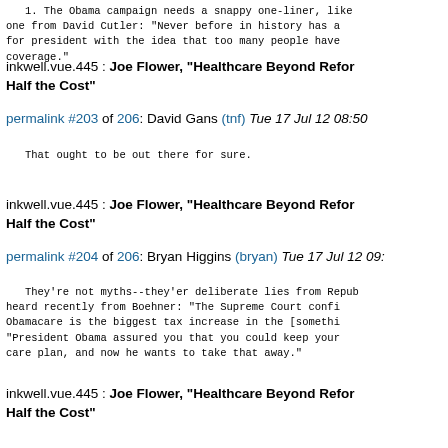1. The Obama campaign needs a snappy one-liner, like one from David Cutler: "Never before in history has a person run for president with the idea that too many people have health coverage."
inkwell.vue.445 : Joe Flower, "Healthcare Beyond Reform: Getting Great Care at Half the Cost"
permalink #203 of 206: David Gans (tnf) Tue 17 Jul 12 08:50
That ought to be out there for sure.
inkwell.vue.445 : Joe Flower, "Healthcare Beyond Reform: Getting Great Care at Half the Cost"
permalink #204 of 206: Bryan Higgins (bryan) Tue 17 Jul 12 09:
They're not myths--they'er deliberate lies from Republicans. I heard recently from Boehner: "The Supreme Court confirmed that Obamacare is the biggest tax increase in the [something]." And "President Obama assured you that you could keep your health care plan, and now he wants to take that away."
inkwell.vue.445 : Joe Flower, "Healthcare Beyond Reform: Getting Great Care at Half the Cost"